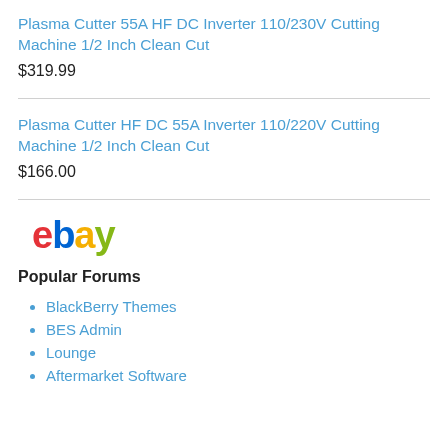Plasma Cutter 55A HF DC Inverter 110/230V Cutting Machine 1/2 Inch Clean Cut
$319.99
Plasma Cutter HF DC 55A Inverter 110/220V Cutting Machine 1/2 Inch Clean Cut
$166.00
[Figure (logo): eBay logo with colored letters: red 'e', blue 'b', yellow 'a', green 'y']
Popular Forums
BlackBerry Themes
BES Admin
Lounge
Aftermarket Software